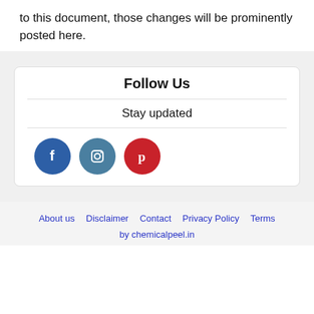to this document, those changes will be prominently posted here.
Follow Us
Stay updated
[Figure (illustration): Three social media icons: Facebook (blue circle with f), Instagram (teal circle with camera icon), Pinterest (red circle with p)]
About us   Disclaimer   Contact   Privacy Policy   Terms
by chemicalpeel.in